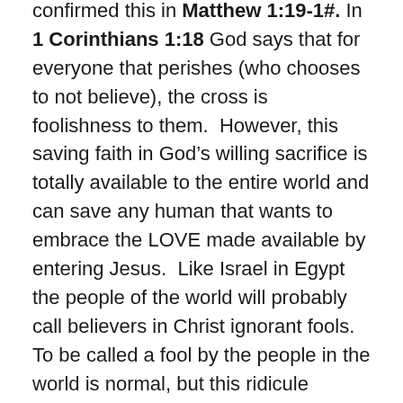confirmed this in Matthew 1:19-1#. In 1 Corinthians 1:18 God says that for everyone that perishes (who chooses to not believe), the cross is foolishness to them.  However, this saving faith in God's willing sacrifice is totally available to the entire world and can save any human that wants to embrace the LOVE made available by entering Jesus.  Like Israel in Egypt the people of the world will probably call believers in Christ ignorant fools. To be called a fool by the people in the world is normal, but this ridicule should not be placed in high regard as being important enough to cause us to not apply the blood and miss out on God's gift of free saving life.  What is lost here in this world is far outweighed by what is gained in eternity knowing LOVE (Heb 11:25, 1 Cor 2:9)
Only the wise “whosoever” that believes, will be saved from an eternal experience of spiritual death (an eternal